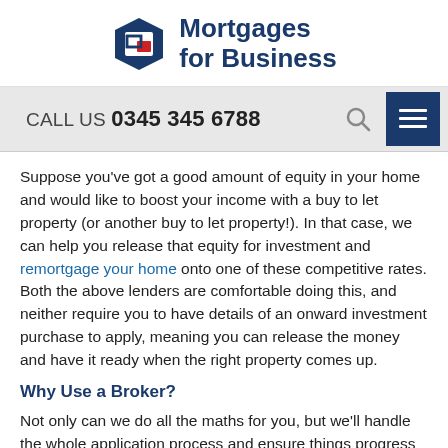[Figure (logo): Mortgages for Business logo — blue hexagonal shield with red square icon, and blue text 'Mortgages for Business']
CALL US 0345 345 6788
Suppose you've got a good amount of equity in your home and would like to boost your income with a buy to let property (or another buy to let property!). In that case, we can help you release that equity for investment and remortgage your home onto one of these competitive rates. Both the above lenders are comfortable doing this, and neither require you to have details of an onward investment purchase to apply, meaning you can release the money and have it ready when the right property comes up.
Why Use a Broker?
Not only can we do all the maths for you, but we'll handle the whole application process and ensure things progress smoothly. By using our expertise, you'll know you're getting